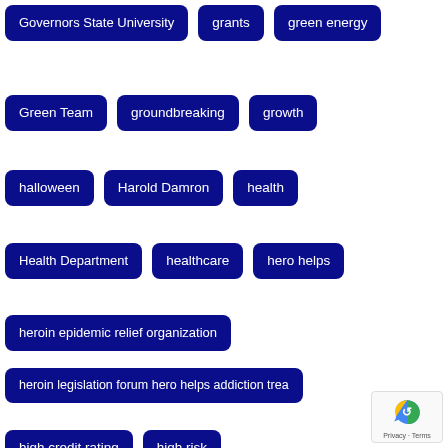Governors State University
grants
green energy
Green Team
groundbreaking
growth
halloween
Harold Damron
health
Health Department
healthcare
hero helps
heroin epidemic relief organization
heroin legislation forum hero helps addiction trea
high credit rating
high risk
Historic Preservation Commission
holiday
holiday bazaar
holiday gift show and luncheon